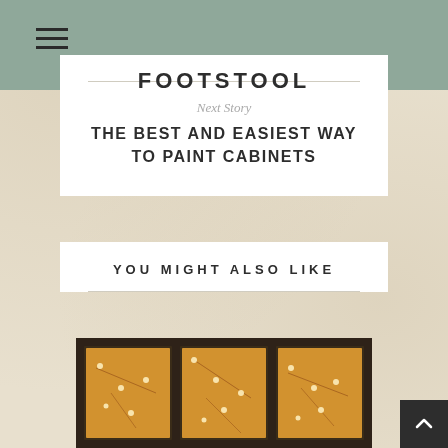FOOTSTOOL
Next Story
THE BEST AND EASIEST WAY TO PAINT CABINETS
YOU MIGHT ALSO LIKE
[Figure (photo): A ceiling light fixture with dark frame divided into three panels, illuminated with warm yellow/orange glow and string lights with delicate branch-like decorations visible inside each panel]